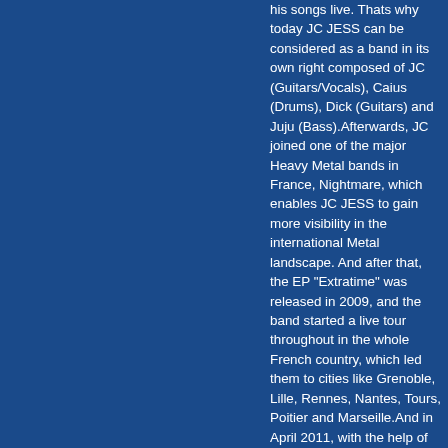his songs live. Thats why today JC JESS can be considered as a band in its own right composed of JC (Guitars/Vocals), Caius (Drums), Dick (Guitars) and Juju (Bass).Afterwards, JC joined one of the major Heavy Metal bands in France, Nightmare, which enables JC JESS to gain more visibility in the international Metal landscape. And after that, the EP "Extratime" was released in 2009, and the band started a live tour throughout in the whole French country, which led them to cities like Grenoble, Lille, Rennes, Nantes, Tours, Poitier and Marseille.And in April 2011, with the help of the French label Brennus, JC JESS is about to release his 3rd album entitled "Battlefront", with an exclusive bonus DVD of a live show performed in 2010. "Battlefront" is the album which sets a real turn in the music of the band. Firstly, its an album able to compete with the most recent productions thanks to his powerful high-quality sound, but also thanks to the composition of the songs which, as usual, are real war